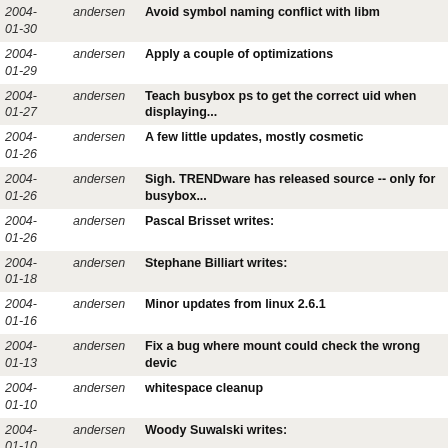| Date | Author | Message |
| --- | --- | --- |
| 2004-01-30 | andersen | Avoid symbol naming conflict with libm |
| 2004-01-29 | andersen | Apply a couple of optimizations |
| 2004-01-27 | andersen | Teach busybox ps to get the correct uid when displaying... |
| 2004-01-26 | andersen | A few little updates, mostly cosmetic |
| 2004-01-26 | andersen | Sigh. TRENDware has released source -- only for busybox... |
| 2004-01-26 | andersen | Pascal Brisset writes: |
| 2004-01-18 | andersen | Stephane Billiart writes: |
| 2004-01-16 | andersen | Minor updates from linux 2.6.1 |
| 2004-01-13 | andersen | Fix a bug where mount could check the wrong devic |
| 2004-01-10 | andersen | whitespace cleanup |
| 2004-01-10 | andersen | Woody Suwalski writes: |
| 2004-01-06 | andersen | Woody Suwalski writes: |
| 2004-01-05 | andersen | Fix broken #else |
| 2004- | andersen | fixes from Calvyn Tang... |